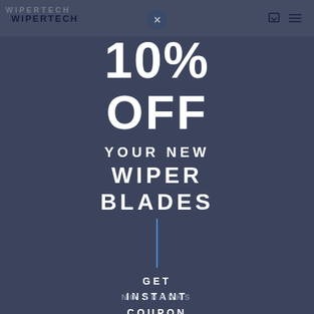WIPERTECH
10%
OFF
YOUR NEW
WIPER BLADES
GET INSTANT COUPON
NO THANKS